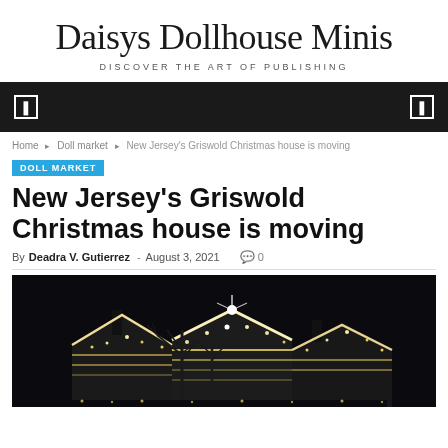Daisys Dollhouse Minis
DISCOVER THE ART OF PUBLISHING
Home > Doll market > New Jersey's Griswold Christmas house is moving
DOLL MARKET
New Jersey's Griswold Christmas house is moving
By Deadra V. Gutierrez - August 3, 2021  0
[Figure (photo): Night photo of a house covered in Christmas lights with bare trees in front, very bright white lights covering the entire structure against a dark sky]